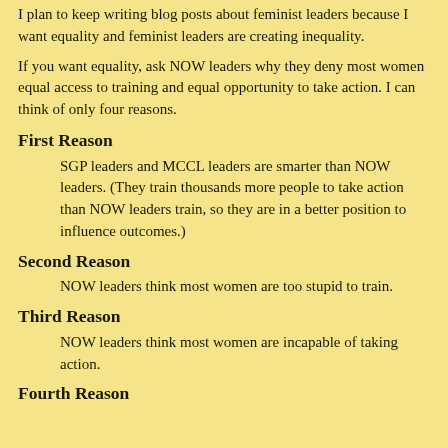I plan to keep writing blog posts about feminist leaders because I want equality and feminist leaders are creating inequality.
If you want equality, ask NOW leaders why they deny most women equal access to training and equal opportunity to take action. I can think of only four reasons.
First Reason
SGP leaders and MCCL leaders are smarter than NOW leaders. (They train thousands more people to take action than NOW leaders train, so they are in a better position to influence outcomes.)
Second Reason
NOW leaders think most women are too stupid to train.
Third Reason
NOW leaders think most women are incapable of taking action.
Fourth Reason